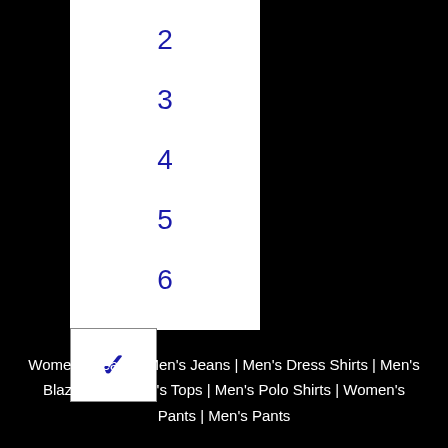2
3
4
5
6
›
Women's Jeans | Men's Jeans | Men's Dress Shirts | Men's Blazers | Women's Tops | Men's Polo Shirts | Women's Pants | Men's Pants